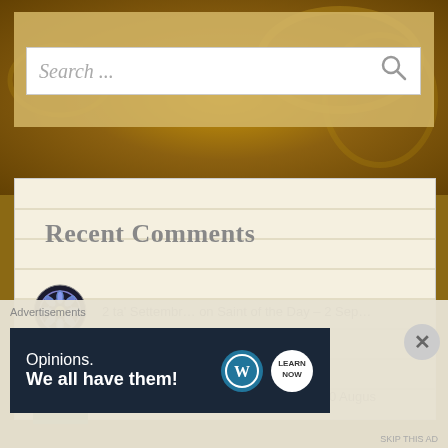[Figure (screenshot): Website screenshot with golden baroque decorative background at top]
Search ...
Recent Comments
2 ta' Settembr… on Saint of the Day – 2 Sep…
Jane Mullikin on ~ Missing in Action ~ 30 Augus
Advertisements
[Figure (screenshot): WordPress advertisement banner: Opinions. We all have them! with WordPress and Learn logos on dark navy background]